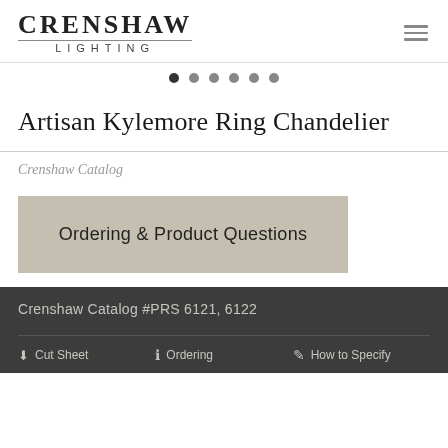[Figure (logo): Crenshaw Lighting logo with hamburger menu icon]
[Figure (other): Six navigation dots, first dot active]
Artisan Kylemore Ring Chandelier
Crenshaw Catalog
Ordering & Product Questions
Crenshaw Catalog #PRS 6121, 6122
Cut Sheet
Ordering
How to Specify